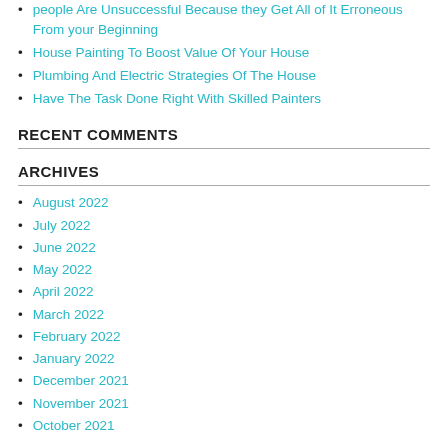people Are Unsuccessful Because they Get All of It Erroneous From your Beginning
House Painting To Boost Value Of Your House
Plumbing And Electric Strategies Of The House
Have The Task Done Right With Skilled Painters
RECENT COMMENTS
ARCHIVES
August 2022
July 2022
June 2022
May 2022
April 2022
March 2022
February 2022
January 2022
December 2021
November 2021
October 2021